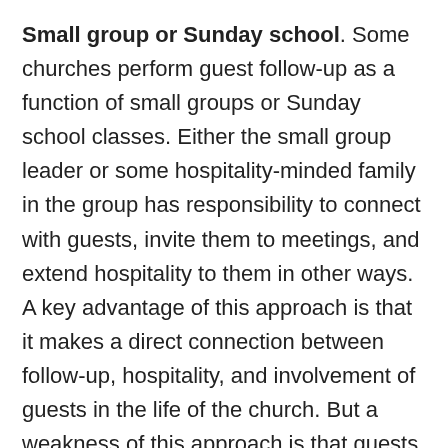Small group or Sunday school. Some churches perform guest follow-up as a function of small groups or Sunday school classes. Either the small group leader or some hospitality-minded family in the group has responsibility to connect with guests, invite them to meetings, and extend hospitality to them in other ways. A key advantage of this approach is that it makes a direct connection between follow-up, hospitality, and involvement of guests in the life of the church. But a weakness of this approach is that guests often choose to involve themselves in other groups or ministries. This can tempt the individuals who first made follow-up to be discouraged; and it also requires a little coordination to make sure that a guest who chose to visit a different small group doesn't fall through the cracks.
Hybrid. At least one of the churches using GuestView takes a hybrid approach to guest follow-up. There is a